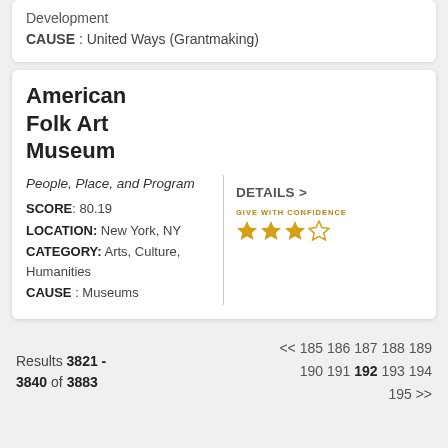Development
CAUSE : United Ways (Grantmaking)
American Folk Art Museum
People, Place, and Program
SCORE: 80.19
LOCATION: New York, NY
CATEGORY: Arts, Culture, Humanities
CAUSE : Museums
DETAILS >
[Figure (other): Give With Confidence star rating: 3 out of 4 stars (gold stars with one empty star)]
Results 3821 - 3840 of 3883
<< 185 186 187 188 189 190 191 192 193 194 195 >>